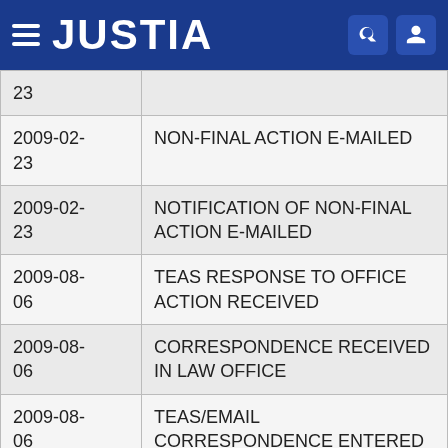JUSTIA
| Date | Event |
| --- | --- |
| 23 |  |
| 2009-02-23 | NON-FINAL ACTION E-MAILED |
| 2009-02-23 | NOTIFICATION OF NON-FINAL ACTION E-MAILED |
| 2009-08-06 | TEAS RESPONSE TO OFFICE ACTION RECEIVED |
| 2009-08-06 | CORRESPONDENCE RECEIVED IN LAW OFFICE |
| 2009-08-06 | TEAS/EMAIL CORRESPONDENCE ENTERED |
| 2009-08-07 | APPROVED FOR PUB - PRINCIPAL REGISTER |
| 2009-08- | ASSIGNED TO LIE |